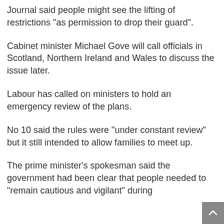Journal said people might see the lifting of restrictions “as permission to drop their guard”.
Cabinet minister Michael Gove will call officials in Scotland, Northern Ireland and Wales to discuss the issue later.
Labour has called on ministers to hold an emergency review of the plans.
No 10 said the rules were “under constant review” but it still intended to allow families to meet up.
The prime minister’s spokesman said the government had been clear that people needed to “remain cautious and vigilant” during